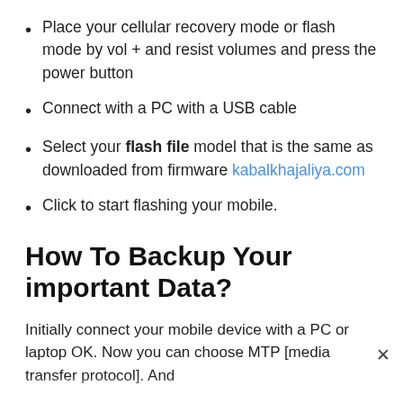Place your cellular recovery mode or flash mode by vol + and resist volumes and press the power button
Connect with a PC with a USB cable
Select your flash file model that is the same as downloaded from firmware kabalkhajaliya.com
Click to start flashing your mobile.
How To Backup Your important Data?
Initially connect your mobile device with a PC or laptop OK. Now you can choose MTP [media transfer protocol]. And